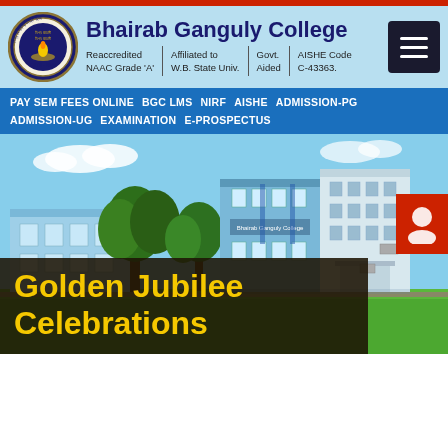Bhairab Ganguly College — Reaccredited NAAC Grade 'A' | Affiliated to W.B. State Univ. | Govt. Aided | AISHE Code C-43363.
PAY SEM FEES ONLINE  BGC LMS  NIRF  AISHE  ADMISSION-PG  ADMISSION-UG  EXAMINATION  E-PROSPECTUS
[Figure (photo): Photograph of Bhairab Ganguly College campus building — a blue-painted multi-story structure surrounded by green trees and an open lawn]
Golden Jubilee Celebrations